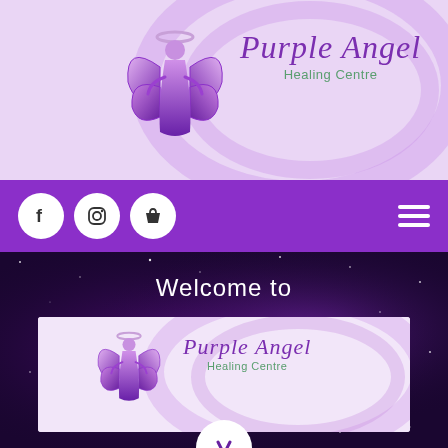[Figure (logo): Purple Angel Healing Centre logo with angel figure and purple cursive text on lavender background with swirl decoration]
[Figure (screenshot): Purple navigation bar with white circular social media icons (Facebook, Instagram, Shopping bag) and hamburger menu]
Welcome to
[Figure (logo): Purple Angel Healing Centre logo banner on light purple background with swirl decoration inside dark galaxy/space background]
[Figure (other): White circle with down arrow at bottom of page, partially cut off]